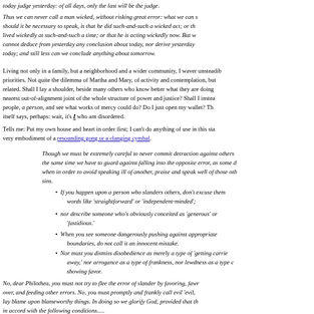today judge yesterday:  of all days, only the last will be the judge.
Thus we can never call a man wicked, without risking great error:  what we can say, should it be necessary to speak, is that he did such-and-such a wicked act; or that he lived wickedly at such-and-such a time; or that he is acting wickedly now.  But we cannot deduce from yesterday any conclusion about today, nor derive yesterday from today; and still less can we conclude anything about tomorrow.
Living not only in a family, but a neighborhood and a wider community, I waver unsteadily between priorities.   Not quite the dilemma of Martha and Mary, of activity and contemplation, but related.  Shall I lay a shoulder, beside many others who know better what they are doing, to the nearest out-of-alignment joint of the whole structure of power and justice?   Shall I instead see people, a person, and see what works of mercy could do?  Do I just open my wallet?   The situation itself says, perhaps: wait, it's I who am disordered.
Tells me:  Put my own house and heart in order first; I can't do anything of use in this state — I'm the very embodiment of a resounding gong or a clanging cymbal.
Though we must be extremely careful to never commit detraction against others, at the same time we have to guard against falling into the opposite error, as some do, when in order to avoid speaking ill of another, praise and speak well of those others' sins.
If you happen upon a person who slanders others, don't excuse them with words like 'straightforward' or 'independent-minded';
nor describe someone who's obviously conceited as 'generous' or 'fastidious.'
When you see someone dangerously pushing against appropriate boundaries, do not call it an innocent mistake.
Nor must you dismiss disobedience as merely a type of 'getting carried away,' nor arrogance as a type of frankness, nor lewdness as a type of showing favor.
No, dear Philothea, you must not try to flee the error of slander by favoring, fawning over, and feeding other errors.   No, you must promptly and frankly call evil 'evil,' and lay blame upon blameworthy things.  In doing so we glorify God, provided that this is in accord with the following conditions.....